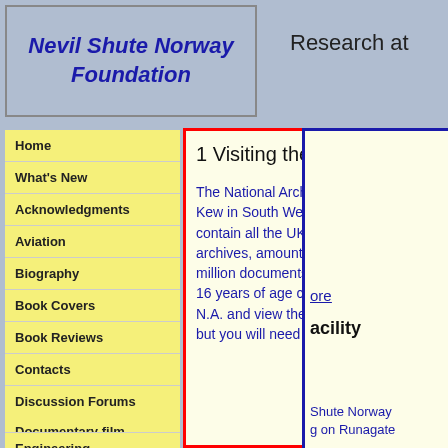Nevil Shute Norway Foundation
Research at
Home
What's New
Acknowledgments
Aviation
Biography
Book Covers
Book Reviews
Contacts
Discussion Forums
Documentary film "FALLOUT"
Engineering
1 Visiting the Archives
The National Archives are at Kew in South West London and contain all the UK government archives, amounting to nearly 10 million documents. Anyone over 16 years of age can visit the N.A. and view the documents but you will need to
ore
acility
Shute Norway g on Runagate